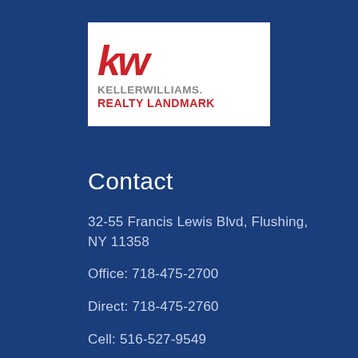[Figure (logo): Keller Williams Realty Landmark logo with red KW letters and company name]
Contact
32-55 Francis Lewis Blvd, Flushing, NY 11358
Office: 718-475-2700
Direct: 718-475-2760
Cell: 516-527-9549
deangraber@kw.com